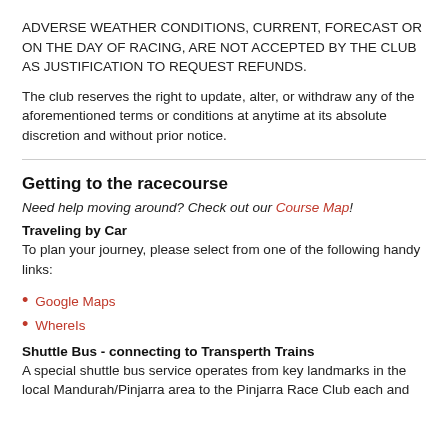ADVERSE WEATHER CONDITIONS, CURRENT, FORECAST OR ON THE DAY OF RACING, ARE NOT ACCEPTED BY THE CLUB AS JUSTIFICATION TO REQUEST REFUNDS.
The club reserves the right to update, alter, or withdraw any of the aforementioned terms or conditions at anytime at its absolute discretion and without prior notice.
Getting to the racecourse
Need help moving around? Check out our Course Map!
Traveling by Car
To plan your journey, please select from one of the following handy links:
Google Maps
WhereIs
Shuttle Bus - connecting to Transperth Trains
A special shuttle bus service operates from key landmarks in the local Mandurah/Pinjarra area to the Pinjarra Race Club each and